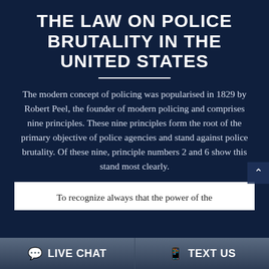THE LAW ON POLICE BRUTALITY IN THE UNITED STATES
The modern concept of policing was popularised in 1829 by Robert Peel, the founder of modern policing and comprises nine principles. These nine principles form the root of the primary objective of police agencies and stand against police brutality. Of these nine, principle numbers 2 and 6 show this stand most clearly.
To recognize always that the power of the
LIVE CHAT | TEXT US